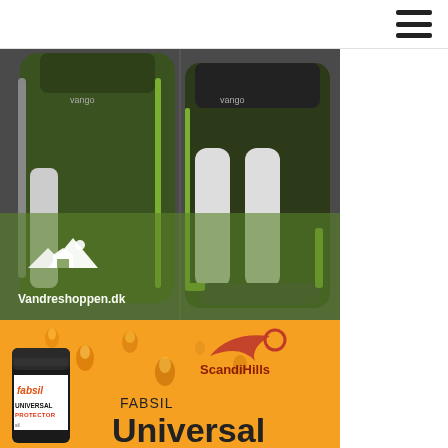[Figure (photo): Two green/dark hiking backpacks shown side by side against a dark background, with a green semi-transparent overlay at the bottom containing the Vandreshoppen.dk logo (mountain/house icon) and text 'Vandreshoppen.dk']
[Figure (advertisement): Orange advertisement banner for ScandiHills featuring Fabsil Universal Protector product. Shows a black Fabsil canister on the left, water droplets decorating the orange background, ScandiHills logo (bird/swoosh design) in top right, and text reading 'FABSIL Universal' in large text.]